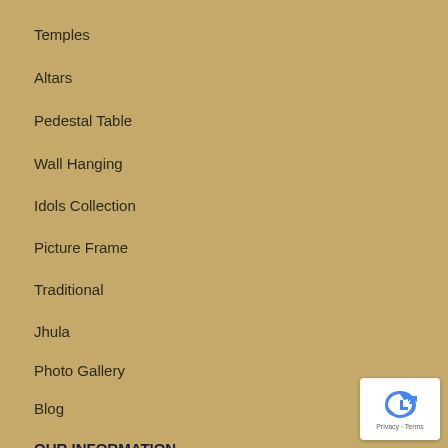Temples
Altars
Pedestal Table
Wall Hanging
Idols Collection
Picture Frame
Traditional
Jhula
Photo Gallery
Blog
OUR INFORMATION
Shipping Policy
Returns & Refunds
Terms & Conditions
[Figure (logo): reCAPTCHA badge with arrow icon and Privacy - Terms text]